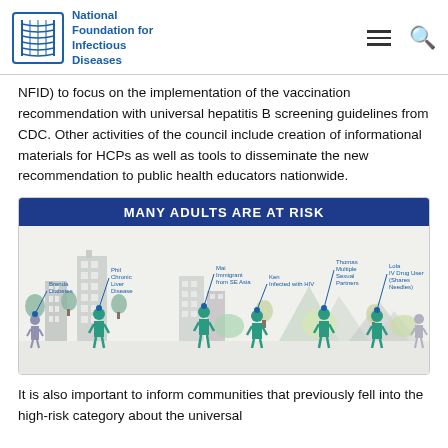National Foundation for Infectious Diseases
NFID) to focus on the implementation of the vaccination recommendation with universal hepatitis B screening guidelines from CDC. Other activities of the council include creation of informational materials for HCPs as well as tools to disseminate the new recommendation to public health educators nationwide.
[Figure (infographic): Infographic titled 'MANY ADULTS ARE AT RISK' showing illustrated figures of people in a cityscape, each labeled with a risk factor: Brenda Diabetes, Phil Chronic Liver Disease, Mai Immigrant from SE Asia, Ken Infected with HIV, Thomas Multiple Sexual Partners, Lola IV Drug User (Shares Needles).]
It is also important to inform communities that previously fell into the high-risk category about the universal